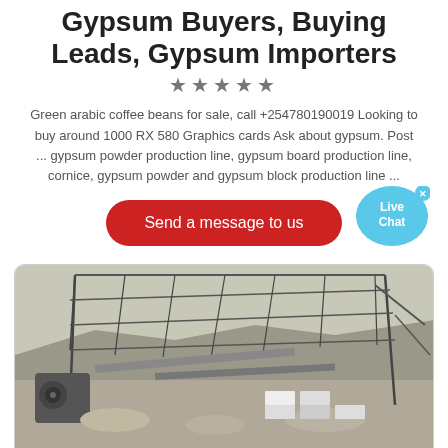Gypsum Buyers, Buying Leads, Gypsum Importers
★★★★★
Green arabic coffee beans for sale, call +254780190019 Looking to buy around 1000 RX 580 Graphics cards Ask about gypsum. Post ... gypsum powder production line, gypsum board production line, cornice, gypsum powder and gypsum block production line ...
[Figure (other): Red rounded button labeled 'Send a message to us' with a live chat bubble icon on the right]
[Figure (photo): Industrial gypsum mining/processing facility with metal framework structure, conveyor belts, and rocky terrain]